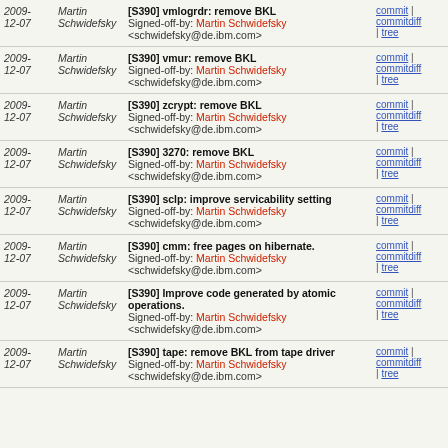| Date | Author | Message | Links |
| --- | --- | --- | --- |
| 2009-12-07 | Martin Schwidefsky | [S390] vmlogrdr: remove BKL
Signed-off-by: Martin Schwidefsky <schwidefsky@de.ibm.com> | commit | commitdiff | tree |
| 2009-12-07 | Martin Schwidefsky | [S390] vmur: remove BKL
Signed-off-by: Martin Schwidefsky <schwidefsky@de.ibm.com> | commit | commitdiff | tree |
| 2009-12-07 | Martin Schwidefsky | [S390] zcrypt: remove BKL
Signed-off-by: Martin Schwidefsky <schwidefsky@de.ibm.com> | commit | commitdiff | tree |
| 2009-12-07 | Martin Schwidefsky | [S390] 3270: remove BKL
Signed-off-by: Martin Schwidefsky <schwidefsky@de.ibm.com> | commit | commitdiff | tree |
| 2009-12-07 | Martin Schwidefsky | [S390] sclp: improve servicability setting
Signed-off-by: Martin Schwidefsky <schwidefsky@de.ibm.com> | commit | commitdiff | tree |
| 2009-12-07 | Martin Schwidefsky | [S390] cmm: free pages on hibernate.
Signed-off-by: Martin Schwidefsky <schwidefsky@de.ibm.com> | commit | commitdiff | tree |
| 2009-12-07 | Martin Schwidefsky | [S390] Improve code generated by atomic operations.
Signed-off-by: Martin Schwidefsky <schwidefsky@de.ibm.com> | commit | commitdiff | tree |
| 2009-12-07 | Martin Schwidefsky | [S390] tape: remove BKL from tape driver
Signed-off-by: Martin Schwidefsky <schwidefsky@de.ibm.com> | commit | commitdiff | tree |